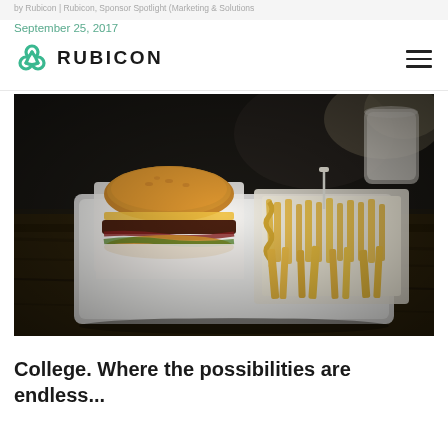September 25, 2017 | RUBICON
September 25, 2017
[Figure (logo): Rubicon logo with green triquetra-like icon and RUBICON text in bold dark letters]
[Figure (photo): A burger and crinkle-cut fries on a white tray on a wooden table, fast-casual food photo, dark moody lighting]
College. Where the possibilities are endless...